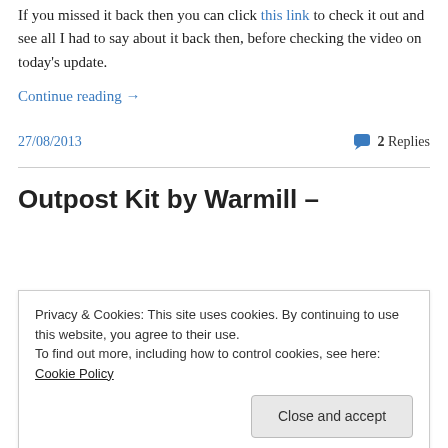If you missed it back then you can click this link to check it out and see all I had to say about it back then, before checking the video on today's update.
Continue reading →
27/08/2013
2 Replies
Outpost Kit by Warmill –
Privacy & Cookies: This site uses cookies. By continuing to use this website, you agree to their use. To find out more, including how to control cookies, see here: Cookie Policy